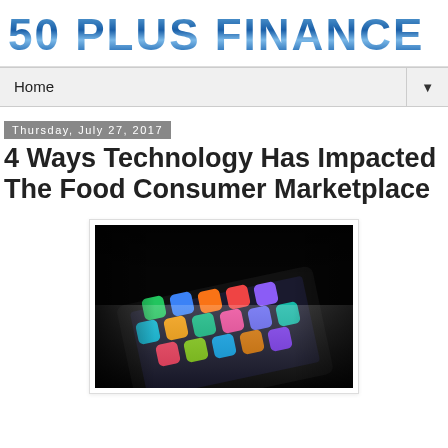50 PLUS FINANCE
Home
Thursday, July 27, 2017
4 Ways Technology Has Impacted The Food Consumer Marketplace
[Figure (photo): A smartphone with illuminated colorful app icons on a dark background, photographed at an angle]